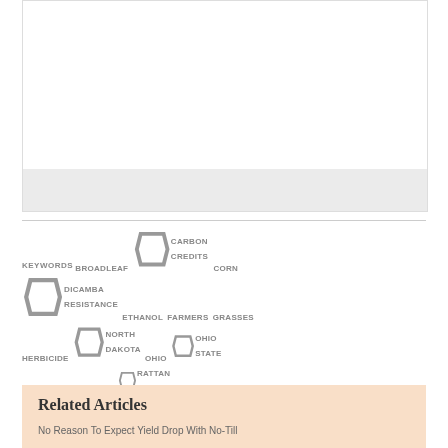[Figure (photo): Image placeholder box with gray bar at bottom]
KEYWORDS  🏷 BROADLEAF  🏷 CARBON CREDITS  🏷 CORN  🏷 DICAMBA RESISTANCE  🏷 ETHANOL  🏷 FARMERS  🏷 GRASSES  🏷 HERBICIDE  🏷 NORTH DAKOTA  🏷 OHIO  🏷 OHIO STATE  🏷 PREFIX  🏷 PRODUCTION  🏷 RATTAN LAL  🏷 SOYBEAN  🏷 SURESTART  🏷 SWITCHGRASS  🏷 WEEDS
Related Articles
No Reason To Expect Yield Drop With No-Till